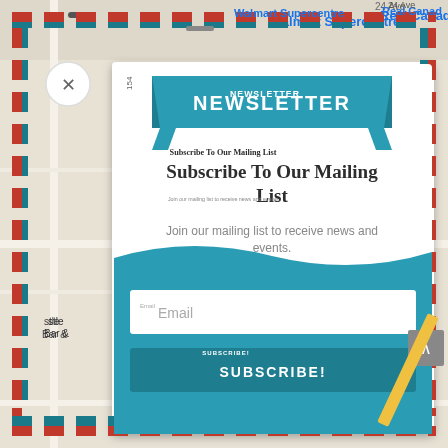[Figure (screenshot): Newsletter signup popup modal overlaid on a Google Maps background showing Walmart Supercentre area. The popup has an airmail-style dashed red and teal border frame, a teal ribbon banner at the top with 'NEWSLETTER' text, a heading 'Subscribe To Our Mailing List', descriptive text, an email input field, and a Subscribe button. A close (X) button is visible at top left.]
NEWSLETTER
Subscribe To Our Mailing List
Join our mailing list to receive news and events.
Email
SUBSCRIBE!